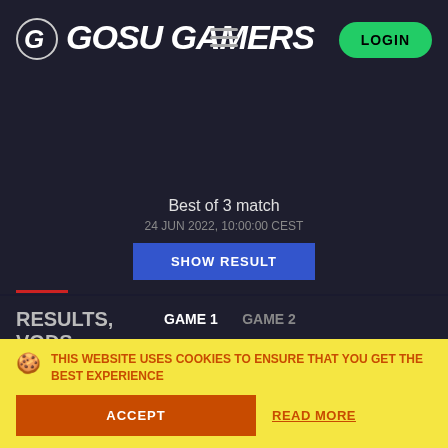GOSU GAMERS
Best of 3 match
24 JUN 2022, 10:00:00 CEST
SHOW RESULT
RESULTS, VODS, DRAFTS
GAME 1   GAME 2
PSG.LGD VS ASTER.ARIES
[Figure (screenshot): Video thumbnail showing DPC China Summer Tour Day 11 with timer 00:16:38]
DPC China Summer Tour | Day 11, CDE...
THIS WEBSITE USES COOKIES TO ENSURE THAT YOU GET THE BEST EXPERIENCE
ACCEPT
READ MORE